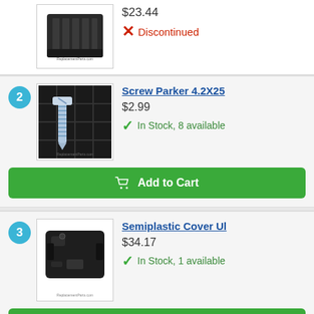[Figure (photo): Product image of a black plastic part (item 1, discontinued)]
$23.44
✗ Discontinued
2
[Figure (photo): Product image of a screw (Parker 4.2X25) on a dark grid background]
Screw Parker 4.2X25
$2.99
✓ In Stock, 8 available
Add to Cart
3
[Figure (photo): Product image of a black semiplastic cover UI part]
Semiplastic Cover Ul
$34.17
✓ In Stock, 1 available
Add to Cart